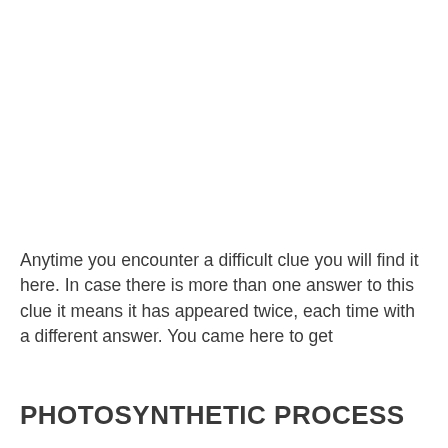Anytime you encounter a difficult clue you will find it here. In case there is more than one answer to this clue it means it has appeared twice, each time with a different answer. You came here to get
PHOTOSYNTHETIC PROCESS